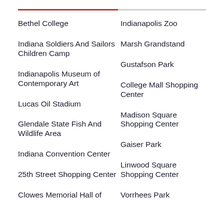Bethel College
Indianapolis Zoo
Indiana Soldiers And Sailors Children Camp
Marsh Grandstand
Indianapolis Museum of Contemporary Art
Gustafson Park
Lucas Oil Stadium
College Mall Shopping Center
Glendale State Fish And Wildlife Area
Madison Square Shopping Center
Indiana Convention Center
Gaiser Park
25th Street Shopping Center
Linwood Square Shopping Center
Clowes Memorial Hall of
Vorrhees Park